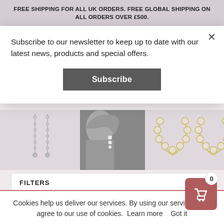FREE SHIPPING FOR ALL UK ORDERS. FREE GLOBAL SHIPPING ON ALL ORDERS OVER £500.
Subscribe to our newsletter to keep up to date with our latest news, products and special offers.
Subscribe
[Figure (photo): Product photos of earrings: two long dangling silver earrings, a black-and-white lifestyle photo of a woman wearing pearl drop earrings, and two U-shaped pearl hoop earrings]
FILTERS
Cookies help us deliver our services. By using our services, you agree to our use of cookies. Learn more   Got it